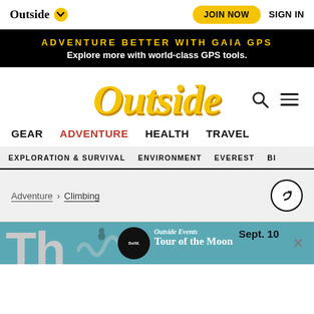Outside | JOIN NOW | SIGN IN
ADVENTURE BETTER WITH GAIA GPS — Explore more with world-class GPS tools.
Outside
GEAR  ADVENTURE  HEALTH  TRAVEL
EXPLORATION & SURVIVAL  ENVIRONMENT  EVEREST  BI
Adventure > Climbing
Outside Events — Sept. 10 — TotM. Tour of the Moon